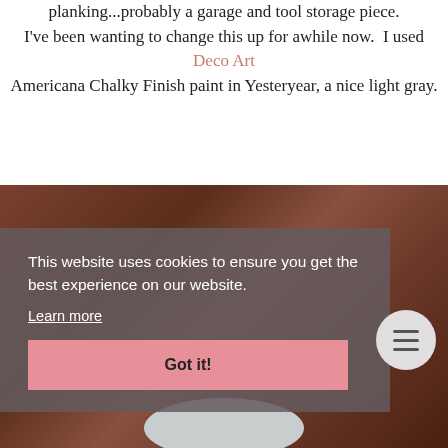planking...probably a garage and tool storage piece. I've been wanting to change this up for awhile now. I used Deco Art Americana Chalky Finish paint in Yesteryear, a nice light gray.
[Figure (photo): Photo of a paint can on a dark wood background, partially obscured by a cookie consent overlay banner]
This website uses cookies to ensure you get the best experience on our website. Learn more Got it!